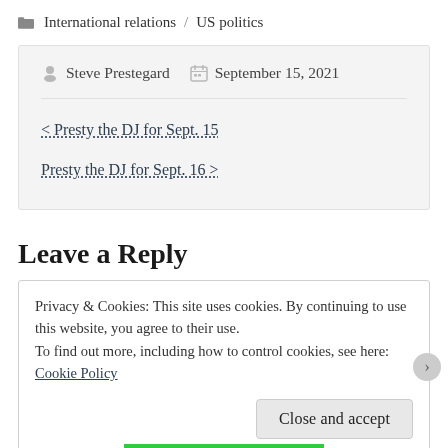International relations / US politics
Steve Prestegard  September 15, 2021
< Presty the DJ for Sept. 15
Presty the DJ for Sept. 16 >
Leave a Reply
Privacy & Cookies: This site uses cookies. By continuing to use this website, you agree to their use.
To find out more, including how to control cookies, see here: Cookie Policy